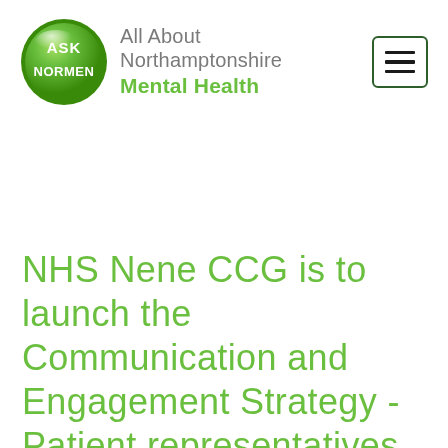[Figure (logo): ASK NORMEN circular green logo with glossy 3D effect, white text reading ASK NORMEN]
All About Northamptonshire Mental Health
[Figure (other): Hamburger menu icon — three horizontal lines inside a dark green bordered rectangle]
NHS Nene CCG is to launch the Communication and Engagement Strategy - Patient representatives needed!